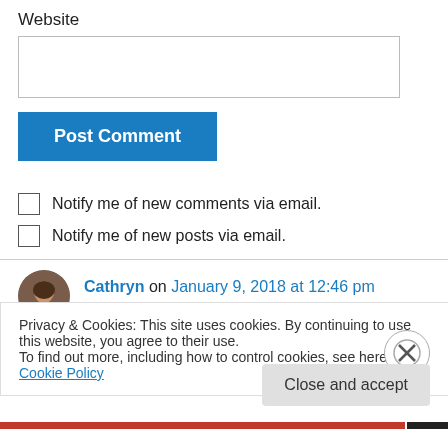Website
[Figure (screenshot): Empty text input field for Website]
[Figure (screenshot): Blue 'Post Comment' button]
Notify me of new comments via email.
Notify me of new posts via email.
[Figure (photo): Avatar photo of Cathryn]
Cathryn on January 9, 2018 at 12:46 pm
Privacy & Cookies: This site uses cookies. By continuing to use this website, you agree to their use.
To find out more, including how to control cookies, see here: Cookie Policy
[Figure (screenshot): Close and accept button]
[Figure (screenshot): Bottom navigation bar with red and black segments]